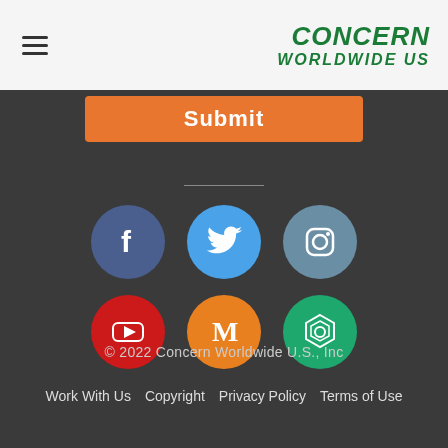Concern Worldwide US
[Figure (screenshot): Orange Submit button]
[Figure (infographic): Six social media icons in two rows: Facebook, Twitter, Instagram (top row); YouTube, Medium, Nexus/hex icon (bottom row)]
© 2022 Concern Worldwide U.S., Inc
Work With Us  Copyright  Privacy Policy  Terms of Use